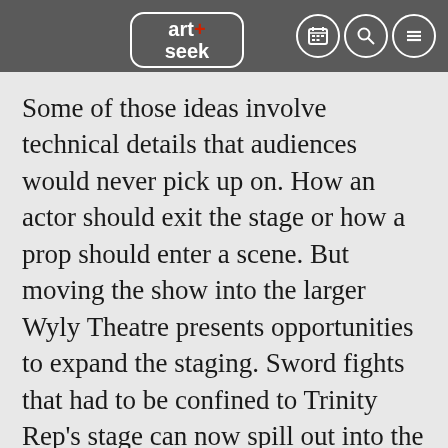art+seek [logo with navigation icons]
Some of those ideas involve technical details that audiences would never pick up on. How an actor should exit the stage or how a prop should enter a scene. But moving the show into the larger Wyly Theatre presents opportunities to expand the staging. Sword fights that had to be confined to Trinity Rep’s stage can now spill out into the audience.
Plus, Moriarty says different rooms just have different vibes. He compares it to moving into a new house with a living room that has the exact same dimensions as your old one.